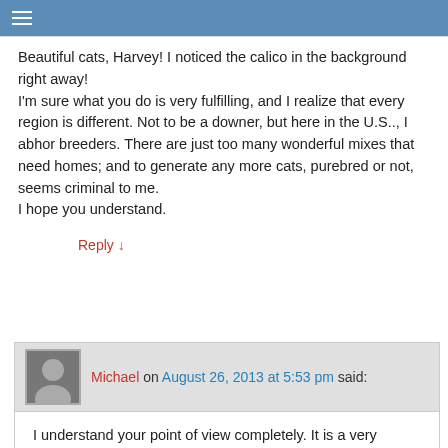≡
Beautiful cats, Harvey! I noticed the calico in the background right away!
I'm sure what you do is very fulfilling, and I realize that every region is different. Not to be a downer, but here in the U.S.., I abhor breeders. There are just too many wonderful mixes that need homes; and to generate any more cats, purebred or not, seems criminal to me.
I hope you understand.
Reply ↓
Michael on August 26, 2013 at 5:53 pm said:
I understand your point of view completely. It is a very difficult topic, which I struggle with. Harvey cares about cats very much. I am sure Harvey understands.

What I don't struggle with, is your work and care helping cats, which I admire a lot.